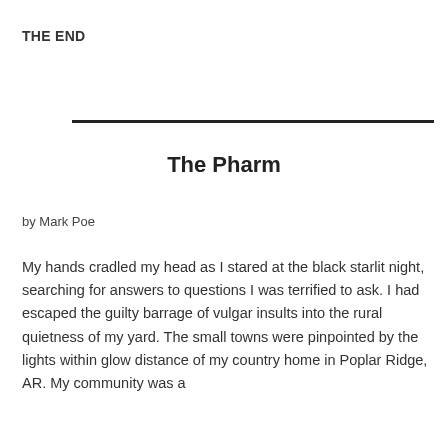THE END
The Pharm
by Mark Poe
My hands cradled my head as I stared at the black starlit night, searching for answers to questions I was terrified to ask. I had escaped the guilty barrage of vulgar insults into the rural quietness of my yard. The small towns were pinpointed by the lights within glow distance of my country home in Poplar Ridge, AR. My community was a